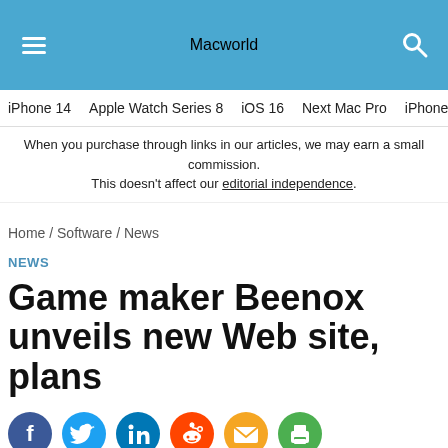Macworld
iPhone 14   Apple Watch Series 8   iOS 16   Next Mac Pro   iPhone d
When you purchase through links in our articles, we may earn a small commission. This doesn't affect our editorial independence.
Home / Software / News
NEWS
Game maker Beenox unveils new Web site, plans
[Figure (infographic): Row of social share icons: Facebook, Twitter, LinkedIn, Reddit, Email, Print]